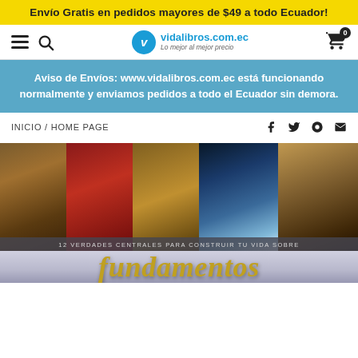Envío Gratis en pedidos mayores de $49 a todo Ecuador!
[Figure (screenshot): Website navigation bar with hamburger menu, search icon, vidalibros.com.ec logo, and shopping cart with 0 badge]
Aviso de Envíos: www.vidalibros.com.ec está funcionando normalmente y enviamos pedidos a todo el Ecuador sin demora.
INICIO / HOME PAGE
[Figure (photo): Book cover collage showing 5 panels with various dramatic imagery and subtitle '12 VERDADES CENTRALES PARA CONSTRUIR TU VIDA SOBRE'. Below shows the word 'fundamentos' in large golden serif italic text.]